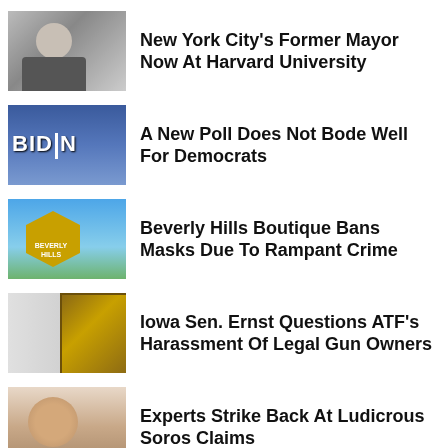New York City's Former Mayor Now At Harvard University
A New Poll Does Not Bode Well For Democrats
Beverly Hills Boutique Bans Masks Due To Rampant Crime
Iowa Sen. Ernst Questions ATF's Harassment Of Legal Gun Owners
Experts Strike Back At Ludicrous Soros Claims